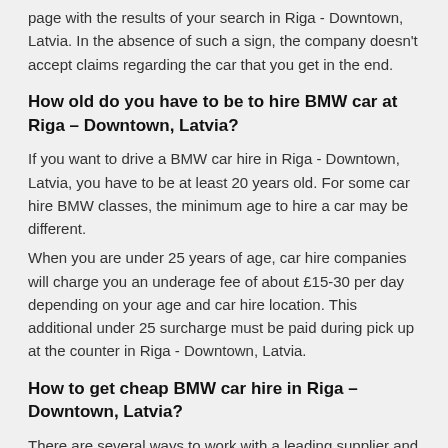page with the results of your search in Riga - Downtown, Latvia. In the absence of such a sign, the company doesn't accept claims regarding the car that you get in the end.
How old do you have to be to hire BMW car at Riga – Downtown, Latvia?
If you want to drive a BMW car hire in Riga - Downtown, Latvia, you have to be at least 20 years old. For some car hire BMW classes, the minimum age to hire a car may be different.
When you are under 25 years of age, car hire companies will charge you an underage fee of about £15-30 per day depending on your age and car hire location. This additional under 25 surcharge must be paid during pick up at the counter in Riga - Downtown, Latvia.
How to get cheap BMW car hire in Riga – Downtown, Latvia?
There are several ways to work with a leading supplier and at the same time to save your money:
Reserve your BMW vehicle a minimum of 2-3 weeks prior